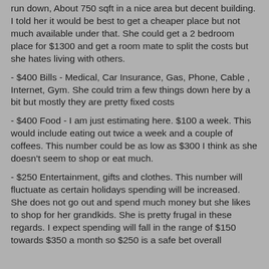run down, About 750 sqft in a nice area but decent building. I told her it would be best to get a cheaper place but not much available under that. She could get a 2 bedroom place for $1300 and get a room mate to split the costs but she hates living with others.
- $400 Bills - Medical, Car Insurance, Gas, Phone, Cable , Internet, Gym. She could trim a few things down here by a bit but mostly they are pretty fixed costs
- $400 Food - I am just estimating here. $100 a week. This would include eating out twice a week and a couple of coffees. This number could be as low as $300 I think as she doesn't seem to shop or eat much.
- $250 Entertainment, gifts and clothes. This number will fluctuate as certain holidays spending will be increased. She does not go out and spend much money but she likes to shop for her grandkids. She is pretty frugal in these regards. I expect spending will fall in the range of $150 towards $350 a month so $250 is a safe bet overall